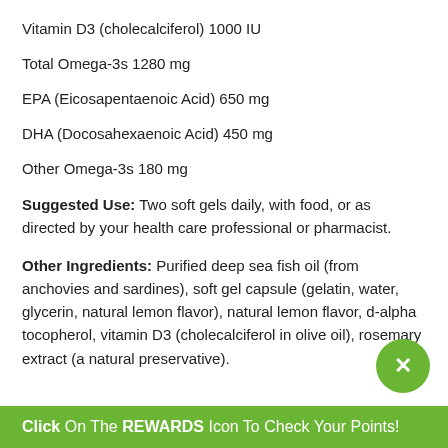Vitamin D3 (cholecalciferol) 1000 IU
Total Omega-3s 1280 mg
EPA (Eicosapentaenoic Acid) 650 mg
DHA (Docosahexaenoic Acid) 450 mg
Other Omega-3s 180 mg
Suggested Use: Two soft gels daily, with food, or as directed by your health care professional or pharmacist.
Other Ingredients: Purified deep sea fish oil (from anchovies and sardines), soft gel capsule (gelatin, water, glycerin, natural lemon flavor), natural lemon flavor, d-alpha tocopherol, vitamin D3 (cholecalciferol in olive oil), rosemary extract (a natural preservative).
Click On The REWARDS Icon To Check Your Points!